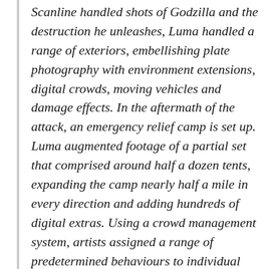Scanline handled shots of Godzilla and the destruction he unleashes, Luma handled a range of exteriors, embellishing plate photography with environment extensions, digital crowds, moving vehicles and damage effects. In the aftermath of the attack, an emergency relief camp is set up. Luma augmented footage of a partial set that comprised around half a dozen tents, expanding the camp nearly half a mile in every direction and adding hundreds of digital extras. Using a crowd management system, artists assigned a range of predetermined behaviours to individual